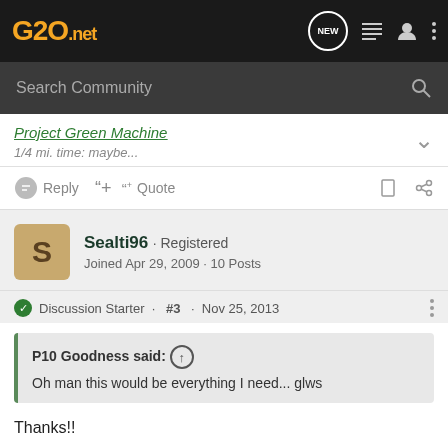G20.net
Search Community
Project Green Machine
1/4 mi. time: maybe...
Reply  Quote
Sealti96 · Registered
Joined Apr 29, 2009 · 10 Posts
Discussion Starter · #3 · Nov 25, 2013
P10 Goodness said:
Oh man this would be everything I need... glws
Thanks!!